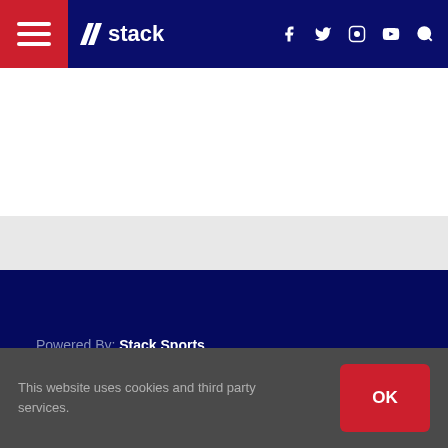stack — navigation bar with hamburger menu, logo, social icons (f, twitter, instagram, youtube), search
Powered By: Stack Sports
CaptainU
This website uses cookies and third party services.